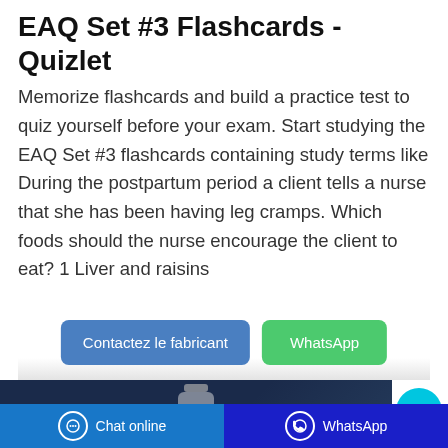EAQ Set #3 Flashcards - Quizlet
Memorize flashcards and build a practice test to quiz yourself before your exam. Start studying the EAQ Set #3 flashcards containing study terms like During the postpartum period a client tells a nurse that she has been having leg cramps. Which foods should the nurse encourage the client to eat? 1 Liver and raisins
[Figure (screenshot): Two call-to-action buttons: 'Contactez le fabricant' (blue) and 'WhatsApp' (green)]
[Figure (photo): Photo of a small hand sanitizer bottle with green label on a dark blue background]
[Figure (other): Cyan chat bubble button with ellipsis icon]
[Figure (screenshot): Bottom navigation bar with 'Chat online' (blue) on the left and 'WhatsApp' (dark blue) on the right, each with icons]